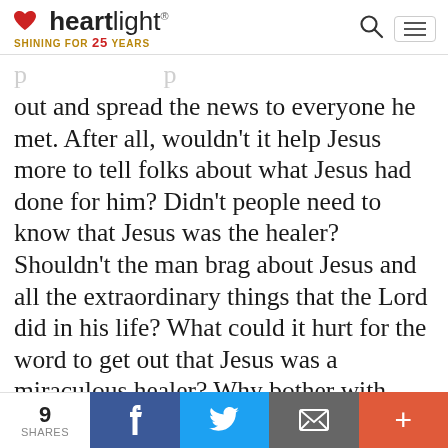Heartlight — Shining for 25 Years
out and spread the news to everyone he met. After all, wouldn't it help Jesus more to tell folks about what Jesus had done for him? Didn't people need to know that Jesus was the healer? Shouldn't the man brag about Jesus and all the extraordinary things that the Lord did in his life? What could it hurt for the word to get out that Jesus was a miraculous healer? Why bother with going to a priest to show he had been cured? Didn't his body clearly demonstrate his healing? So he didn't do what
9 SHARES | Facebook | Twitter | Email | More